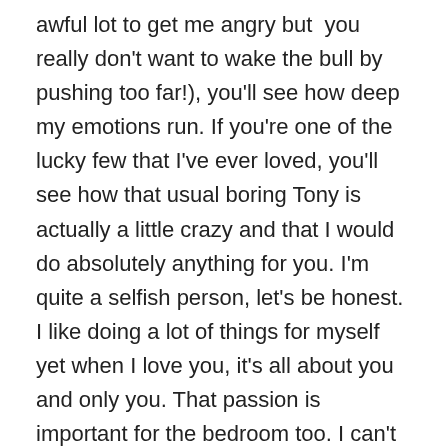awful lot to get me angry but you really don't want to wake the bull by pushing too far!), you'll see how deep my emotions run. If you're one of the lucky few that I've ever loved, you'll see how that usual boring Tony is actually a little crazy and that I would do absolutely anything for you. I'm quite a selfish person, let's be honest. I like doing a lot of things for myself yet when I love you, it's all about you and only you. That passion is important for the bedroom too. I can't lay claim to sleeping with many women but I never got any complaints. One thing many guys forget is it's a two way street and the more you devote to your partner in the bedroom the more rewards you receive. Yes, yes I know that's not a statistically viable sample size of one…
That's one reason I'm actually scared to get into a new relationship because when I'm in love I can't control that